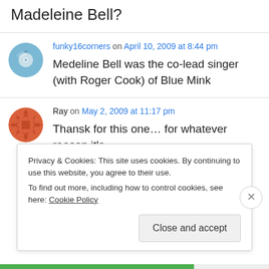Madeleine Bell?
funky16corners on April 10, 2009 at 8:44 pm
Medeline Bell was the co-lead singer (with Roger Cook) of Blue Mink
Ray on May 2, 2009 at 11:17 pm
Thansk for this one… for whatever reason it's
Privacy & Cookies: This site uses cookies. By continuing to use this website, you agree to their use.
To find out more, including how to control cookies, see here: Cookie Policy
Close and accept